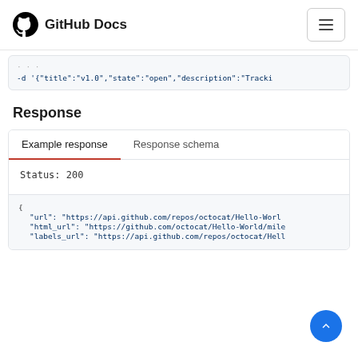GitHub Docs
-d '{"title":"v1.0","state":"open","description":"Tracki
Response
Example response | Response schema
Status: 200
{
  "url": "https://api.github.com/repos/octocat/Hello-Worl
  "html_url": "https://github.com/octocat/Hello-World/mile
  "labels_url": "https://api.github.com/repos/octocat/Hell